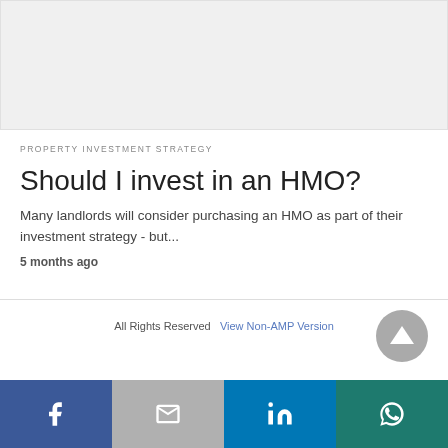[Figure (photo): Light grey placeholder image box at top of page]
PROPERTY INVESTMENT STRATEGY
Should I invest in an HMO?
Many landlords will consider purchasing an HMO as part of their investment strategy - but...
5 months ago
All Rights Reserved  View Non-AMP Version